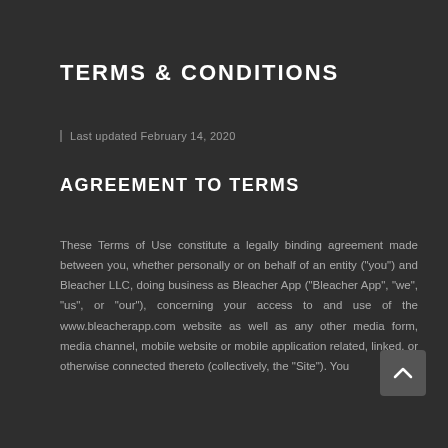TERMS & CONDITIONS
Last updated February 14, 2020
AGREEMENT TO TERMS
These Terms of Use constitute a legally binding agreement made between you, whether personally or on behalf of an entity ("you") and Bleacher LLC, doing business as Bleacher App ("Bleacher App", "we", "us", or "our"), concerning your access to and use of the www.bleacherapp.com website as well as any other media form, media channel, mobile website or mobile application related, linked, or otherwise connected thereto (collectively, the "Site"). You